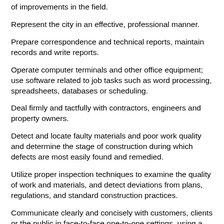of improvements in the field.
Represent the city in an effective, professional manner.
Prepare correspondence and technical reports, maintain records and write reports.
Operate computer terminals and other office equipment; use software related to job tasks such as word processing, spreadsheets, databases or scheduling.
Deal firmly and tactfully with contractors, engineers and property owners.
Detect and locate faulty materials and poor work quality and determine the stage of construction during which defects are most easily found and remedied.
Utilize proper inspection techniques to examine the quality of work and materials, and detect deviations from plans, regulations, and standard construction practices.
Communicate clearly and concisely with customers, clients or the public in face-to-face one-to-one settings, using a telephone, or in group settings, and in writing.
Establish and maintain effective working relationships with